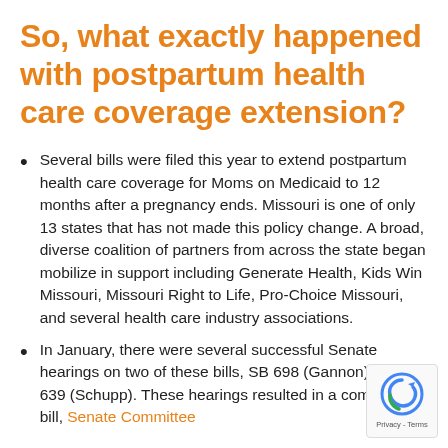So, what exactly happened with postpartum health care coverage extension?
Several bills were filed this year to extend postpartum health care coverage for Moms on Medicaid to 12 months after a pregnancy ends. Missouri is one of only 13 states that has not made this policy change. A broad, diverse coalition of partners from across the state began mobilize in support including Generate Health, Kids Win Missouri, Missouri Right to Life, Pro-Choice Missouri, and several health care industry associations.
In January, there were several successful Senate hearings on two of these bills, SB 698 (Gannon) and SB 639 (Schupp). These hearings resulted in a combined bill, Senate Committee [continues]